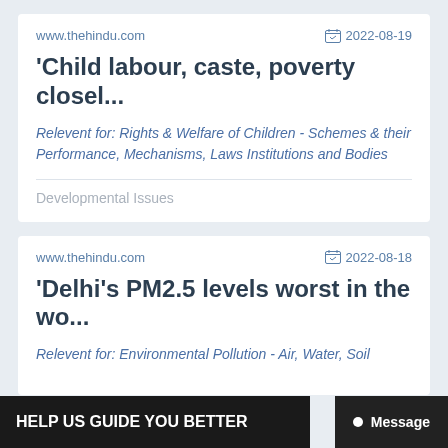www.thehindu.com    2022-08-19
'Child labour, caste, poverty closel...
Relevent for: Rights & Welfare of Children - Schemes & their Performance, Mechanisms, Laws Institutions and Bodies
Developmental Issues
www.thehindu.com    2022-08-18
'Delhi's PM2.5 levels worst in the wo...
Relevent for: Environmental Pollution - Air, Water, Soil
Environment
HELP US GUIDE YOU BETTER
Message